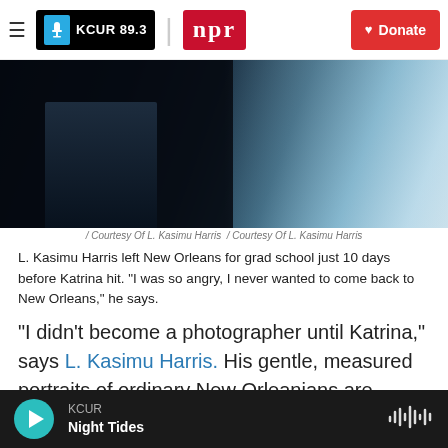KCUR 89.3 | npr | Donate
[Figure (photo): Dark photographic image, mostly dark tones with a blue-grey gradient of light illuminating a floor or surface. Left portion is very dark/black.]
/ Courtesy Of L. Kasimu Harris / Courtesy Of L. Kasimu Harris
L. Kasimu Harris left New Orleans for grad school just 10 days before Katrina hit. "I was so angry, I never wanted to come back to New Orleans," he says.
"I didn't become a photographer until Katrina," says L. Kasimu Harris. His gentle, measured portraits of ordinary New Orleanians are included in an exhibit called "The Rising" at the Ogden Museum of Southern Art in New Orleans that reflects on the
KCUR | Night Tides